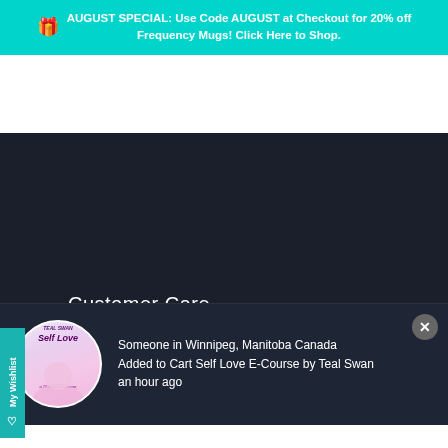AUGUST SPECIAL: Use Code AUGUST at Checkout for 20% off Frequency Mugs! Click Here to Shop.
[Figure (screenshot): White navigation bar area of a website]
Customer Care
Search
Contact Support
[Figure (photo): Circular product image for Self Love E-Course by Teal Swan]
Someone in Winnipeg, Manitoba Canada Added to Cart Self Love E-Course by Teal Swan an hour ago